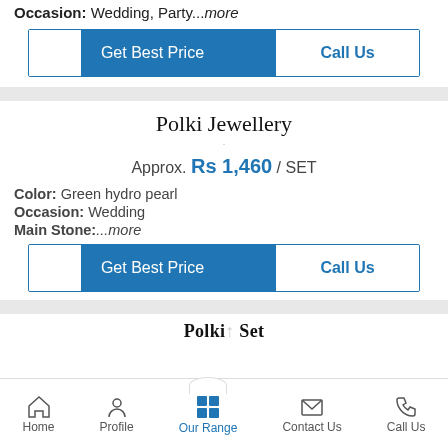Occasion: Wedding, Party...more
Get Best Price | Call Us
Polki Jewellery
Approx. Rs 1,460 / SET
Color: Green hydro pearl
Occasion: Wedding
Main Stone:...more
Get Best Price | Call Us
Polki Set
Home | Profile | Our Range | Contact Us | Call Us